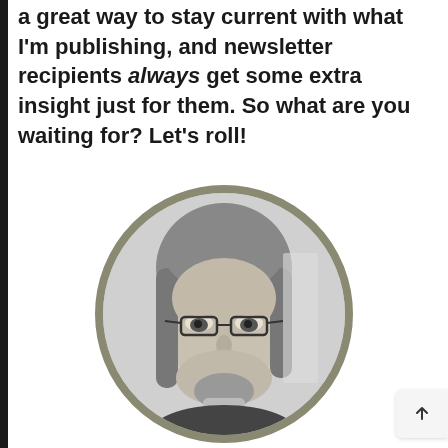something that resonates with you. It's a great way to stay current with what I'm publishing, and newsletter recipients always get some extra insight just for them. So what are you waiting for? Let's roll!
[Figure (photo): Black and white circular portrait photo of a smiling man with glasses and shoulder-length hair, with a grayish-green circular border.]